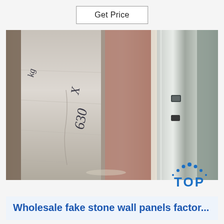Get Price
[Figure (photo): Close-up photo of stone wall panels stacked together. Handwritten black text visible on the panels reading something like 'kg' and 'X 630'. The panels show a light grey/beige stone texture on the face and metallic/silver edges.]
[Figure (logo): TOP logo — blue dots arranged in a triangle arc above the word TOP in blue bold letters]
Wholesale fake stone wall panels factor...